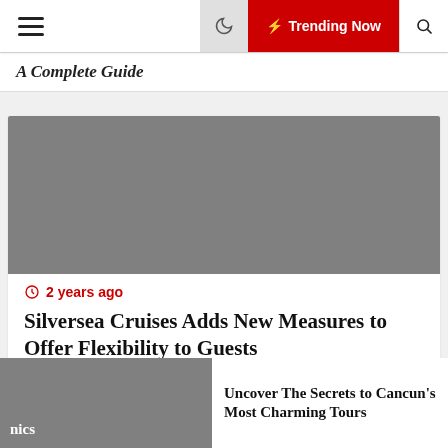≡  🌙  ⚡ Trending Now  🔍
A Complete Guide
[Figure (photo): Gray placeholder image for article thumbnail]
2 years ago
Silversea Cruises Adds New Measures to Offer Flexibility to Guests
[Figure (photo): Gray placeholder image for second article thumbnail]
nics
Uncover The Secrets to Cancun's Most Charming Tours